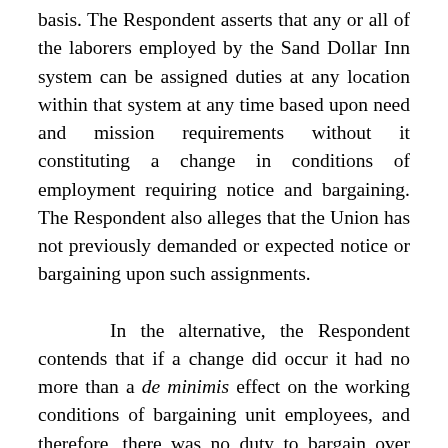basis. The Respondent asserts that any or all of the laborers employed by the Sand Dollar Inn system can be assigned duties at any location within that system at any time based upon need and mission requirements without it constituting a change in conditions of employment requiring notice and bargaining. The Respondent also alleges that the Union has not previously demanded or expected notice or bargaining upon such assignments.
In the alternative, the Respondent contends that if a change did occur it had no more than a de minimis effect on the working conditions of bargaining unit employees, and therefore, there was no duty to bargain over said change. The Respondent asserts that the duties performed by laborers at any location within the Sand Dollar Inn system are the same, as is the environment in which they work, and the amenities available to them.